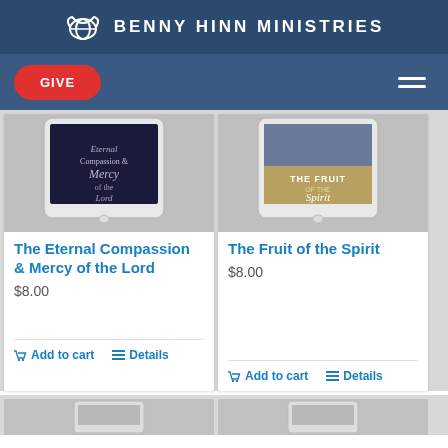BENNY HINN MINISTRIES
[Figure (screenshot): Benny Hinn Ministries website with GIVE button and hamburger menu]
[Figure (photo): Product image - The Eternal Compassion & Mercy of the Lord on tablet]
The Eternal Compassion & Mercy of the Lord
$8.00
Add to cart   Details
[Figure (photo): Product image - The Fruit of the Spirit on tablet]
The Fruit of the Spirit
$8.00
Add to cart   Details